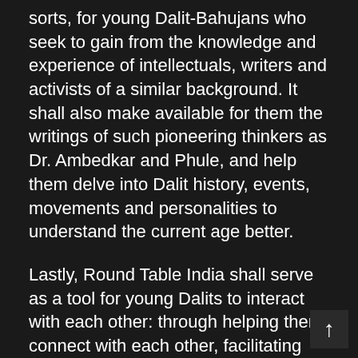sorts, for young Dalit-Bahujans who seek to gain from the knowledge and experience of intellectuals, writers and activists of a similar background. It shall also make available for them the writings of such pioneering thinkers as Dr. Ambedkar and Phule, and help them delve into Dalit history, events, movements and personalities to understand the current age better.
Lastly, Round Table India shall serve as a tool for young Dalits to interact with each other: through helping them connect with each other, facilitating debates and discussions of interest to them.